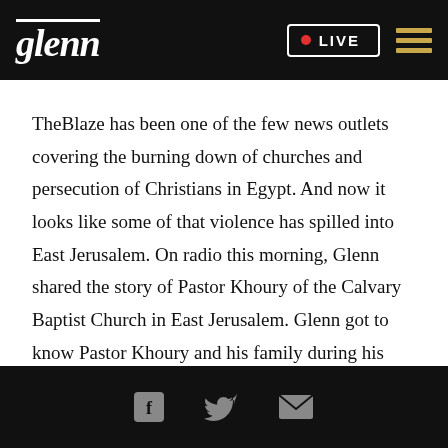glenn  LIVE
TheBlaze has been one of the few news outlets covering the burning down of churches and persecution of Christians in Egypt. And now it looks like some of that violence has spilled into East Jerusalem. On radio this morning, Glenn shared the story of Pastor Khoury of the Calvary Baptist Church in East Jerusalem. Glenn got to know Pastor Khoury and his family during his time in Israel for Restoring Courage.
Social icons: Facebook, Twitter, Email